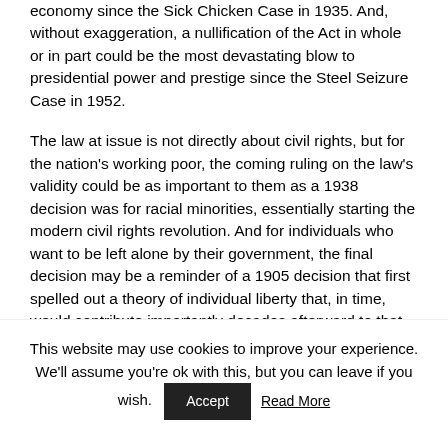economy since the Sick Chicken Case in 1935.  And, without exaggeration, a nullification of the Act in whole or in part could be the most devastating blow to presidential power and prestige since the Steel Seizure Case in 1952.
The law at issue is not directly about civil rights, but for the nation's working poor, the coming ruling on the law's validity could be as important to them as a 1938 decision was for racial minorities, essentially starting the modern civil rights revolution.  And for individuals who want to be left alone by their government, the final decision may be a reminder of a 1905 decision that first spelled out a theory of individual liberty that, in time, would contribute importantly decades afterward to that same civil rights revolution.
This website may use cookies to improve your experience. We'll assume you're ok with this, but you can leave if you wish.